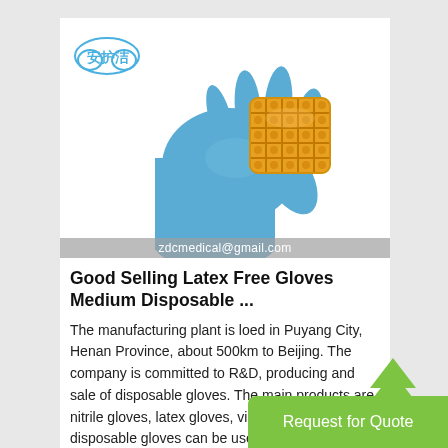[Figure (photo): Photo of a blue nitrile/latex-free disposable glove holding a waffle/crumpet, with a Chinese brand logo (安护洁) in the top left and email zdcmedical@gmail.com overlaid at the bottom.]
Good Selling Latex Free Gloves Medium Disposable ...
The manufacturing plant is loed in Puyang City, Henan Province, about 500km to Beijing. The company is committed to R&D, producing and sale of disposable gloves. The main products are nitrile gloves, latex gloves, vinyl gloves. These disposable gloves can be used as medial gloves as we... gloves.